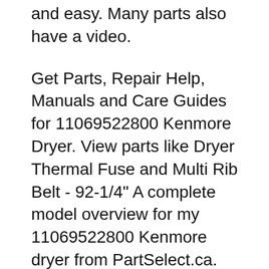and easy. Many parts also have a video.
Get Parts, Repair Help, Manuals and Care Guides for 11069522800 Kenmore Dryer. View parts like Dryer Thermal Fuse and Multi Rib Belt - 92-1/4" A complete model overview for my 11069522800 Kenmore dryer from PartSelect.ca. Includes repair parts, symptom troubleshooting, repair videos and more for my appliance.
Find all the parts you need for your Kenmore Dryer 110.86681100 at RepairClinic.com. We have manuals, guides and of course parts for common 110.86681100 problems. Find all the parts you need for your Kenmore Dryer...